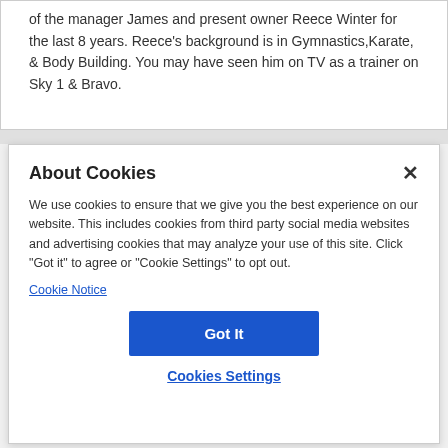of the manager James and present owner Reece Winter for the last 8 years. Reece's background is in Gymnastics,Karate, & Body Building. You may have seen him on TV as a trainer on Sky 1 & Bravo.
About Cookies
We use cookies to ensure that we give you the best experience on our website. This includes cookies from third party social media websites and advertising cookies that may analyze your use of this site. Click "Got it" to agree or "Cookie Settings" to opt out.
Cookie Notice
Got It
Cookies Settings